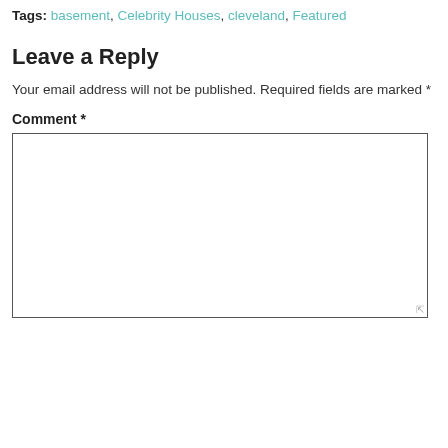Tags: basement, Celebrity Houses, cleveland, Featured
Leave a Reply
Your email address will not be published. Required fields are marked *
Comment *